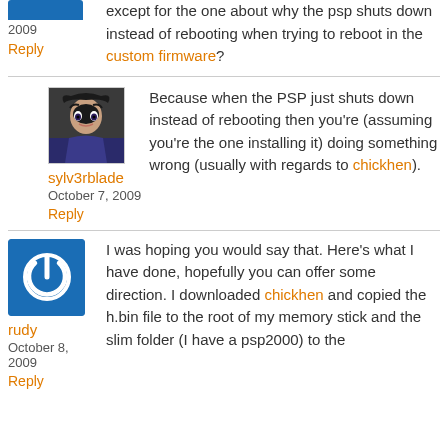except for the one about why the psp shuts down instead of rebooting when trying to reboot in the custom firmware?
Reply
sylv3rblade
October 7, 2009
Reply
Because when the PSP just shuts down instead of rebooting then you're (assuming you're the one installing it) doing something wrong (usually with regards to chickhen).
rudy
October 8, 2009
Reply
I was hoping you would say that. Here's what I have done, hopefully you can offer some direction. I downloaded chickhen and copied the h.bin file to the root of my memory stick and the slim folder (I have a psp2000) to the